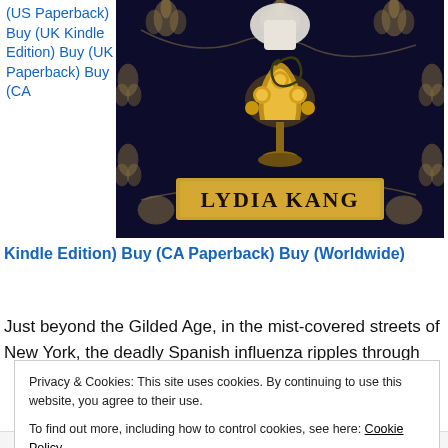(US Paperback) Buy (UK Kindle Edition) Buy (UK Paperback) Buy (CA
[Figure (photo): Book cover for a novel by Lydia Kang, dark navy blue background with gold floral/ornamental patterns, gold decorative crown-like object in center, author name 'LYDIA KANG' on a gold banner at the bottom]
Kindle Edition) Buy (CA Paperback) Buy (Worldwide)
Just beyond the Gilded Age, in the mist-covered streets of New York, the deadly Spanish influenza ripples through
Privacy & Cookies: This site uses cookies. By continuing to use this website, you agree to their use.
To find out more, including how to control cookies, see here: Cookie Policy
Close and accept
Advertisements